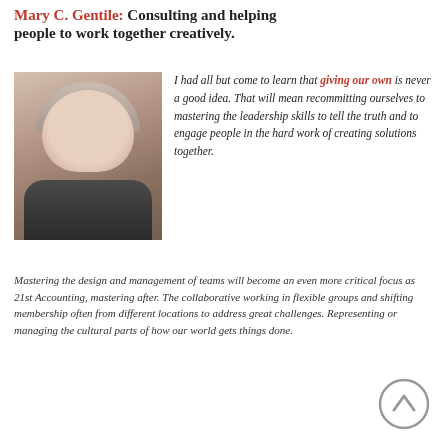Mary C. Gentile: Consulting and helping people to work together creatively.
[Figure (photo): Headshot of a woman with short blonde/gray hair, smiling, wearing a dark jacket.]
I had all but come to learn that giving our own is never a good idea. That will mean recommitting ourselves to mastering the leadership skills to tell the truth and to engage people in the hard work of creating solutions together.
Mastering the design and management of teams will become an even more critical focus as 21st Accounting, mastering after. The collaborative working in flexible groups and shifting membership often from different locations to address great challenges. Representing or managing the cultural parts of how our world gets things done.
[Figure (other): A circular up-arrow navigation button icon.]